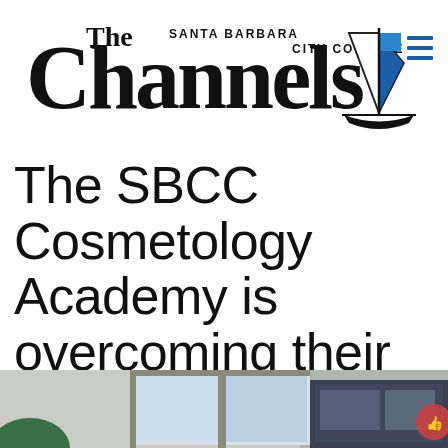The Channels — Santa Barbara City College
The SBCC Cosmetology Academy is overcoming their online challenges
[Figure (photo): A partial view of a room interior with a window showing daylight, and what appears to be a computer screen or monitor visible in the lower right portion of the image.]